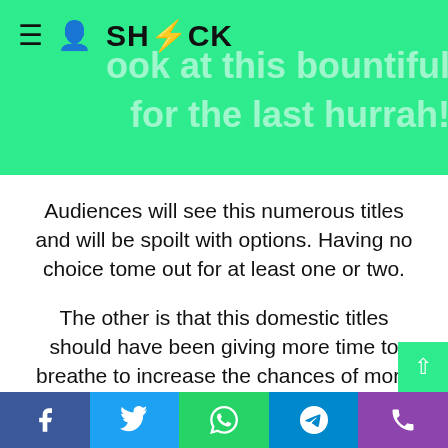SHOCK
Audiences will see this numerous titles and will be spoilt with options. Having no choice tome out for at least one or two.
The other is that this domestic titles should have been giving more time to breathe to increase the chances of more revenue gain.
Anyhow you look at this is totally fine.
But pick a title and watch with your friends. Make it your last Hurrah for a  "not so good
Facebook | Twitter | WhatsApp | Telegram | Phone